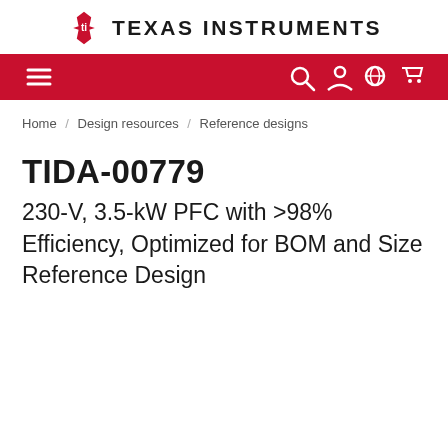Texas Instruments
Home / Design resources / Reference designs
TIDA-00779
230-V, 3.5-kW PFC with >98% Efficiency, Optimized for BOM and Size Reference Design